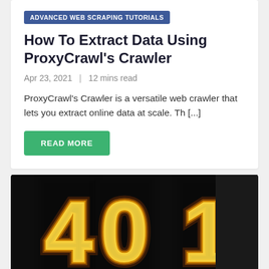ADVANCED WEB SCRAPING TUTORIALS
How To Extract Data Using ProxyCrawl's Crawler
Apr 23, 2021  |  12 mins read
ProxyCrawl's Crawler is a versatile web crawler that lets you extract online data at scale. Th [...]
READ MORE
[Figure (photo): Dark background with glowing orange '401' digits, resembling a neon or burning number display.]